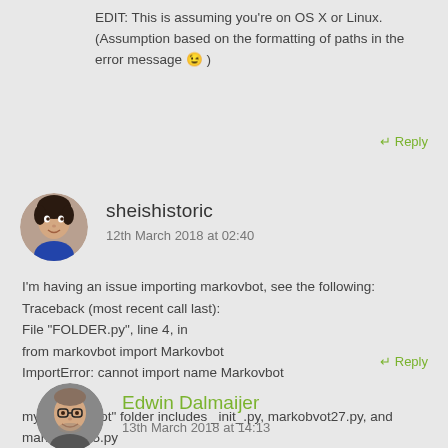EDIT: This is assuming you're on OS X or Linux. (Assumption based on the formatting of paths in the error message 😉 )
← Reply
sheishistoric
12th March 2018 at 02:40
I'm having an issue importing markovbot, see the following:
Traceback (most recent call last):
File "FOLDER.py", line 4, in
from markovbot import Markovbot
ImportError: cannot import name Markovbot

my "markovbot" folder includes _init_.py, markobvot27.py, and markovbot35.py
← Reply
Edwin Dalmaijer
13th March 2018 at 14:13